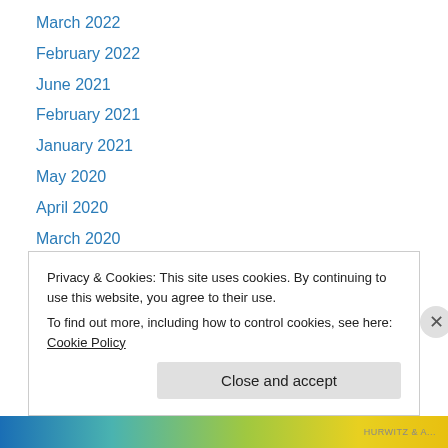March 2022
February 2022
June 2021
February 2021
January 2021
May 2020
April 2020
March 2020
October 2019
September 2019
June 2019
April 2019
February 2019
Privacy & Cookies: This site uses cookies. By continuing to use this website, you agree to their use.
To find out more, including how to control cookies, see here: Cookie Policy
HURWITZ & A...